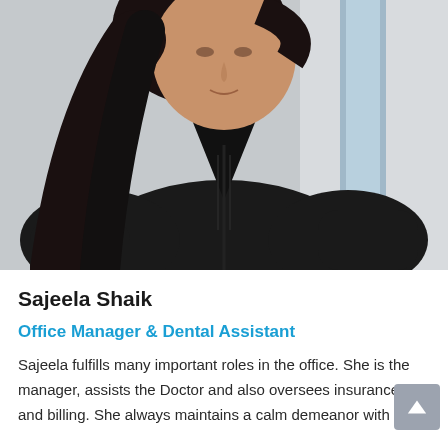[Figure (photo): Portrait photo of Sajeela Shaik wearing black scrubs, with long dark hair, photographed from chest up against a light background]
Sajeela Shaik
Office Manager & Dental Assistant
Sajeela fulfills many important roles in the office. She is the manager, assists the Doctor and also oversees insurances and billing. She always maintains a calm demeanor with a